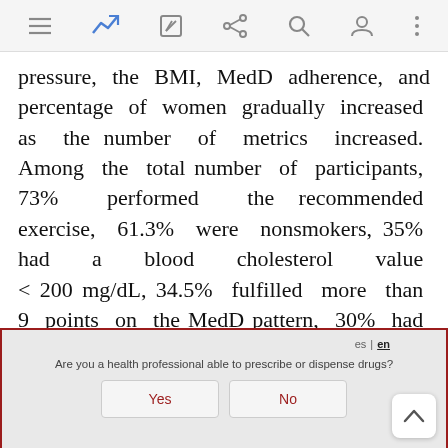[Mobile app toolbar with navigation icons]
pressure, the BMI, MedD adherence, and percentage of women gradually increased as the number of metrics increased. Among the total number of participants, 73% performed the recommended exercise, 61.3% were nonsmokers, 35% had a blood cholesterol value < 200 mg/dL, 34.5% fulfilled more than 9 points on the MedD pattern, 30% had a glucose concentration < 100 mg/dL, 7.5% had a BMI < 25%, and 5% had blood pressure < 120/80 mmHg.
Are you a health professional able to prescribe or dispense drugs? Yes No